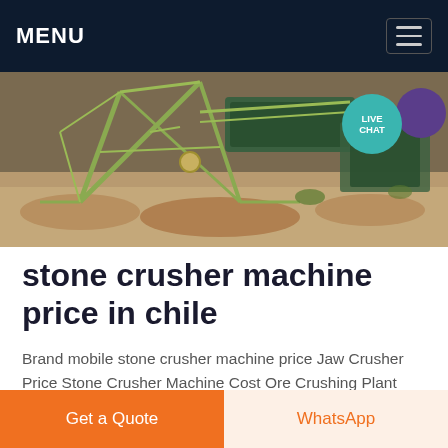MENU
[Figure (photo): Industrial stone crusher machinery on a sandy/gravel site with structural frame and conveyor equipment visible outdoors.]
stone crusher machine price in chile
Brand mobile stone crusher machine price Jaw Crusher Price Stone Crusher Machine Cost Ore Crushing Plant Equipment Price Stone crusher machine cost is the important factor Ore Crushing Plant Equipment Price Stone Crusher Used in India for Sale copper production